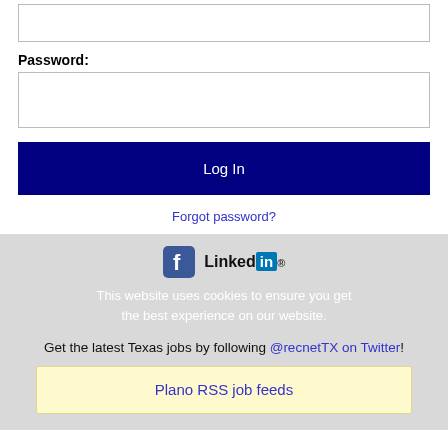(input field — top, partially visible)
Password:
(password input field)
Log In
Forgot password?
[Figure (logo): Facebook logo icon and LinkedIn logo with 'Linked in' text]
This website uses cookies to ensure you get the best experience on our website.
Get the latest Texas jobs by following @recnetTX on Twitter!
Plano RSS job feeds